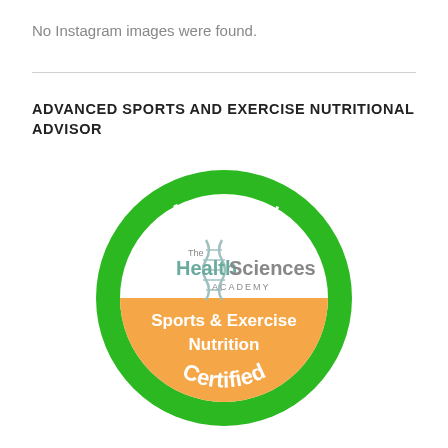No Instagram images were found.
ADVANCED SPORTS AND EXERCISE NUTRITIONAL ADVISOR
[Figure (logo): Circular certification badge from The Health Sciences Academy. Green outer ring with white text 'Approved' at top and 'Certified' at bottom. Inner circle white upper half with The Health Sciences Academy logo (DNA helix graphic), orange lower half with white bold text 'Sports & Exercise Nutrition'.]